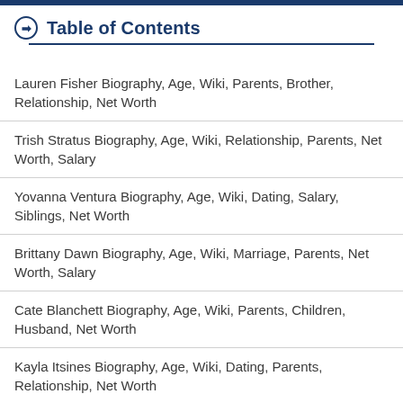Table of Contents
Lauren Fisher Biography, Age, Wiki, Parents, Brother, Relationship, Net Worth
Trish Stratus Biography, Age, Wiki, Relationship, Parents, Net Worth, Salary
Yovanna Ventura Biography, Age, Wiki, Dating, Salary, Siblings, Net Worth
Brittany Dawn Biography, Age, Wiki, Marriage, Parents, Net Worth, Salary
Cate Blanchett Biography, Age, Wiki, Parents, Children, Husband, Net Worth
Kayla Itsines Biography, Age, Wiki, Dating, Parents, Relationship, Net Worth
MrBeast Biography, Age, Wiki, Dating, Relationship, Net Worth, Affair